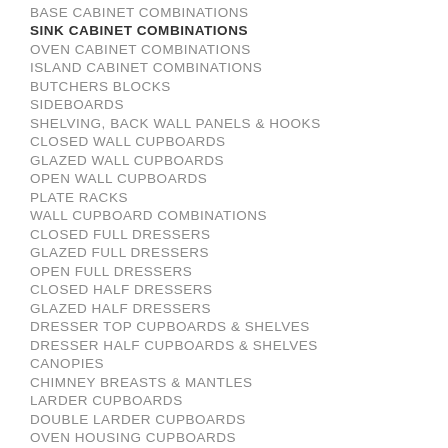BASE CABINET COMBINATIONS
SINK CABINET COMBINATIONS
OVEN CABINET COMBINATIONS
ISLAND CABINET COMBINATIONS
BUTCHERS BLOCKS
SIDEBOARDS
SHELVING, BACK WALL PANELS & HOOKS
CLOSED WALL CUPBOARDS
GLAZED WALL CUPBOARDS
OPEN WALL CUPBOARDS
PLATE RACKS
WALL CUPBOARD COMBINATIONS
CLOSED FULL DRESSERS
GLAZED FULL DRESSERS
OPEN FULL DRESSERS
CLOSED HALF DRESSERS
GLAZED HALF DRESSERS
DRESSER TOP CUPBOARDS & SHELVES
DRESSER HALF CUPBOARDS & SHELVES
CANOPIES
CHIMNEY BREASTS & MANTLES
LARDER CUPBOARDS
DOUBLE LARDER CUPBOARDS
OVEN HOUSING CUPBOARDS
FRIDGE/FREEZER HOUSING CUPBOARDS